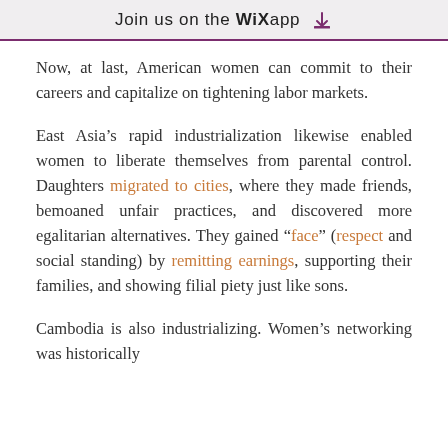Join us on the WiX app
Now, at last, American women can commit to their careers and capitalize on tightening labor markets.
East Asia's rapid industrialization likewise enabled women to liberate themselves from parental control. Daughters migrated to cities, where they made friends, bemoaned unfair practices, and discovered more egalitarian alternatives. They gained “face” (respect and social standing) by remitting earnings, supporting their families, and showing filial piety just like sons.
Cambodia is also industrializing. Women’s networking was historically